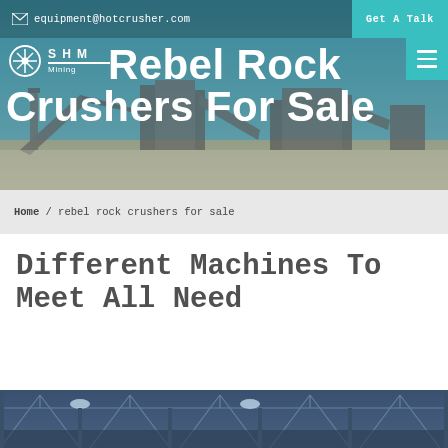equipment@hotcrusher.com  Get A Talk
Rebel Rock Crushers For Sale
[Figure (logo): SHM Mining logo with star/gear circle icon and company name]
Home / rebel rock crushers for sale
Different Machines To Meet All Need
[Figure (photo): Interior of a large industrial warehouse or factory with steel roof structure and lighting]